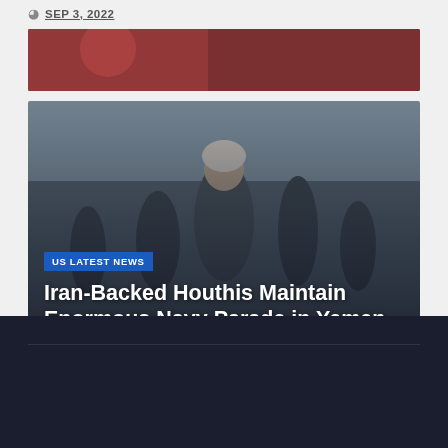[Figure (photo): Partial top image strip showing what appears to be a person in red clothing, cropped at the top of the page]
SEP 3, 2022
[Figure (photo): Photo of Iran-backed Houthi fighters/soldiers in Yemen, with a man in military camouflage and white turban prominently in the center foreground, others standing behind him outdoors]
US LATEST NEWS
Iran-Backed Houthis Maintain Enormous Navy Parade in Yemen
SEP 3, 2022